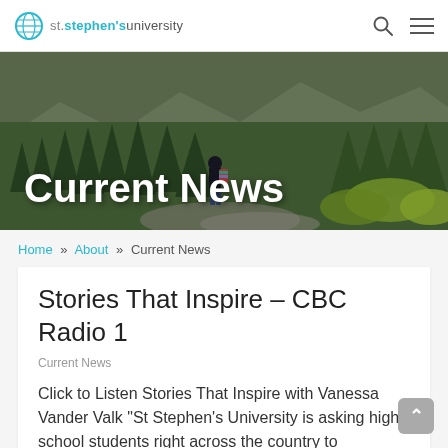st.stephen's university — navigation bar with search and menu icons
[Figure (photo): Hero banner image showing a forest landscape with pine trees and a person with a backpack standing on a rocky outcrop. White bold text overlay reads 'Current News'.]
Home » About » Current News
Stories That Inspire – CBC Radio 1
Current News
Click to Listen Stories That Inspire with Vanessa Vander Valk "St Stephen's University is asking high school students right across the country to